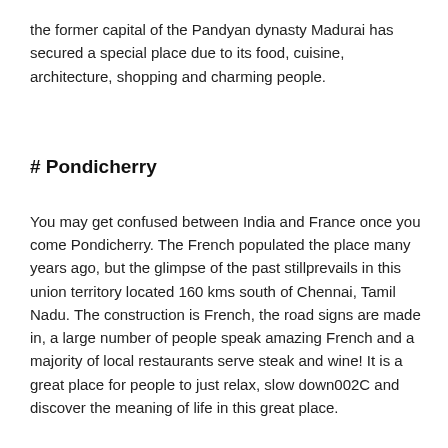the former capital of the Pandyan dynasty Madurai has secured a special place due to its food, cuisine, architecture, shopping and charming people.
# Pondicherry
You may get confused between India and France once you come Pondicherry. The French populated the place many years ago, but the glimpse of the past stillprevails in this union territory located 160 kms south of Chennai, Tamil Nadu. The construction is French, the road signs are made in, a large number of people speak amazing French and a majority of local restaurants serve steak and wine! It is a great place for people to just relax, slow down002C and discover the meaning of life in this great place.
# Mysore, Karnataka
Mysore is known to have unmatched royal inheritance, with the city's major tourist attraction being the striking Mysore Palace. There are several other interesting buildings, palaces, and temples that are worth seeing. The World Heritage-listed palace here attracts a large number of travelers, but Mysore is also affluent in